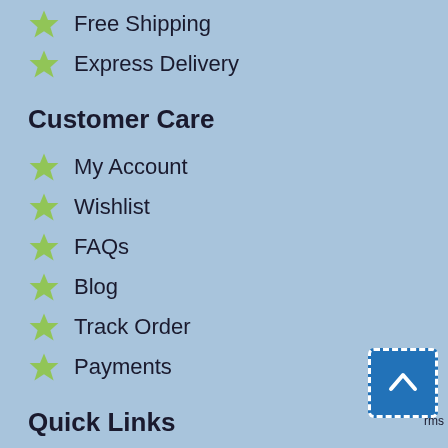Free Shipping
Express Delivery
Customer Care
My Account
Wishlist
FAQs
Blog
Track Order
Payments
Quick Links
About Us